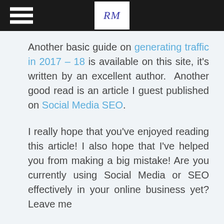RM [logo] with hamburger menu
Another basic guide on generating traffic in 2017 – 18 is available on this site, it's written by an excellent author.  Another good read is an article I guest published on Social Media SEO.
I really hope that you've enjoyed reading this article! I also hope that I've helped you from making a big mistake! Are you currently using Social Media or SEO effectively in your online business yet? Leave me